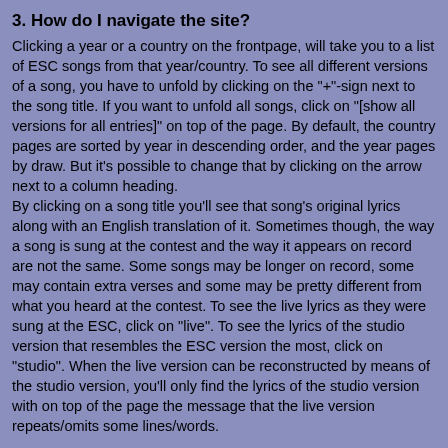3. How do I navigate the site?
Clicking a year or a country on the frontpage, will take you to a list of ESC songs from that year/country. To see all different versions of a song, you have to unfold by clicking on the "+"-sign next to the song title. If you want to unfold all songs, click on "[show all versions for all entries]" on top of the page. By default, the country pages are sorted by year in descending order, and the year pages by draw. But it's possible to change that by clicking on the arrow next to a column heading.
By clicking on a song title you'll see that song's original lyrics along with an English translation of it. Sometimes though, the way a song is sung at the contest and the way it appears on record are not the same. Some songs may be longer on record, some may contain extra verses and some may be pretty different from what you heard at the contest. To see the live lyrics as they were sung at the ESC, click on "live". To see the lyrics of the studio version that resembles the ESC version the most, click on "studio". When the live version can be reconstructed by means of the studio version, you'll only find the lyrics of the studio version with on top of the page the message that the live version repeats/omits some lines/words.